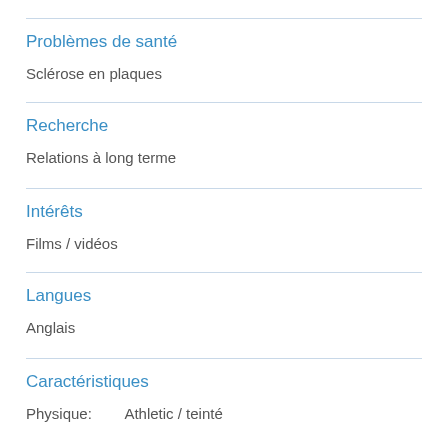Problèmes de santé
Sclérose en plaques
Recherche
Relations à long terme
Intérêts
Films / vidéos
Langues
Anglais
Caractéristiques
Physique:        Athletic / teinté